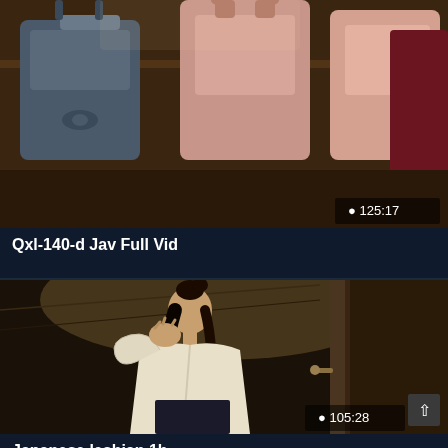[Figure (photo): Video thumbnail showing handbags on a shelf or rack, including a blue/grey bag and pink bags]
125:17
Qxl-140-d Jav Full Vid
[Figure (photo): Video thumbnail showing a woman in a white cardigan standing near a door, covering her mouth with her hand]
105:28
Japanese lesbian 1b